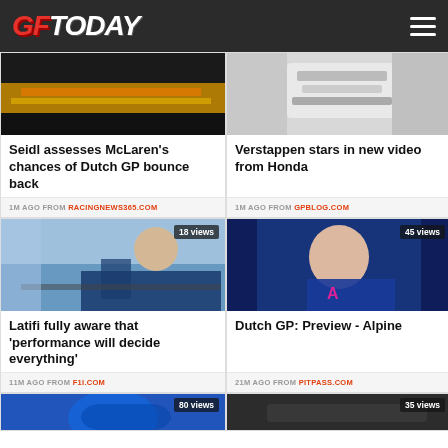GFToday
[Figure (photo): McLaren F1 car rear view with orange livery]
Seidl assesses McLaren's chances of Dutch GP bounce back
1M AGO FROM RACINGNEWS365.COM
[Figure (photo): Verstappen Honda promotional image]
Verstappen stars in new video from Honda
1M AGO FROM GPBLOG.COM
[Figure (photo): Latifi sitting at simulator, 18 views]
Latifi fully aware that 'performance will decide everything'
11M AGO FROM F1I.COM
[Figure (photo): Alpine F1 driver portrait smiling, 45 views]
Dutch GP: Preview - Alpine
21M AGO FROM PITPASS.COM
[Figure (photo): Partial image, 80 views]
[Figure (photo): Partial image, 35 views]